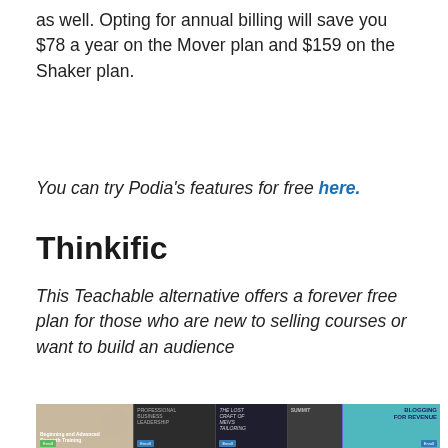as well. Opting for annual billing will save you $78 a year on the Mover plan and $159 on the Shaker plan.
You can try Podia's features for free here.
Thinkific
This Teachable alternative offers a forever free plan for those who are new to selling courses or want to build an audience
[Figure (photo): A collage of five course thumbnail images including fitness, business leadership, men's walking, outdoor adventure, and blogging for revenue.]